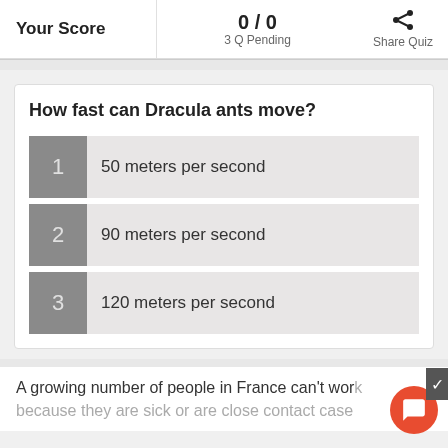Your Score | 0 / 0 | 3 Q Pending | Share Quiz
How fast can Dracula ants move?
1  50 meters per second
2  90 meters per second
3  120 meters per second
A growing number of people in France can't work because they are sick or are close contact case...